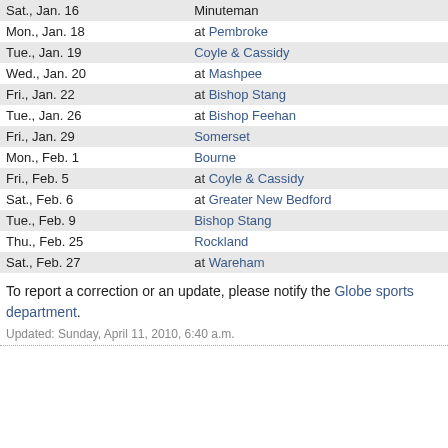| Date | Opponent |
| --- | --- |
| Sat., Jan. 16 | Minuteman |
| Mon., Jan. 18 | at Pembroke |
| Tue., Jan. 19 | Coyle & Cassidy |
| Wed., Jan. 20 | at Mashpee |
| Fri., Jan. 22 | at Bishop Stang |
| Tue., Jan. 26 | at Bishop Feehan |
| Fri., Jan. 29 | Somerset |
| Mon., Feb. 1 | Bourne |
| Fri., Feb. 5 | at Coyle & Cassidy |
| Sat., Feb. 6 | at Greater New Bedford |
| Tue., Feb. 9 | Bishop Stang |
| Thu., Feb. 25 | Rockland |
| Sat., Feb. 27 | at Wareham |
To report a correction or an update, please notify the Globe sports department.
Updated: Sunday, April 11, 2010, 6:40 a.m.
Home | Today's Globe | News | Business | Sports | Lifestyle
CONTACT BOSTON.COM | Help | Advertise | Work here | CONTACT THE BOSTON GLOBE | Subscribe | Manage your subscription